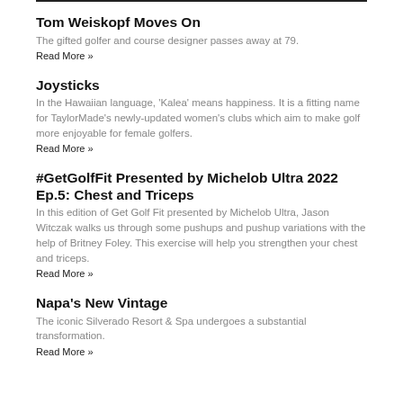Tom Weiskopf Moves On
The gifted golfer and course designer passes away at 79.
Read More »
Joysticks
In the Hawaiian language, 'Kalea' means happiness. It is a fitting name for TaylorMade's newly-updated women's clubs which aim to make golf more enjoyable for female golfers.
Read More »
#GetGolfFit Presented by Michelob Ultra 2022 Ep.5: Chest and Triceps
In this edition of Get Golf Fit presented by Michelob Ultra, Jason Witczak walks us through some pushups and pushup variations with the help of Britney Foley. This exercise will help you strengthen your chest and triceps.
Read More »
Napa's New Vintage
The iconic Silverado Resort & Spa undergoes a substantial transformation.
Read More »